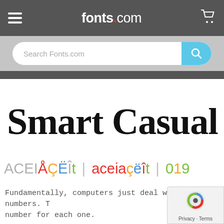fonts.com
[Figure (screenshot): Search bar with placeholder 'Search Fonts.com' and a blue search button]
[Figure (illustration): Large font preview showing 'Smart Casual Stag' in a handwritten/casual black typeface]
[Figure (illustration): Accent characters row: ACEIÅÇËÎt in gray/multicolor, aceiaçëît in red/multicolor, 019 in green/orange]
Fundamentally, computers just deal with numbers. They store letters and other characters by assigning a number for each one.